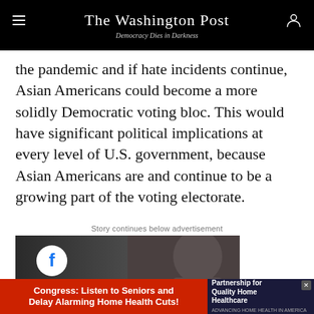The Washington Post — Democracy Dies in Darkness
the pandemic and if hate incidents continue, Asian Americans could become a more solidly Democratic voting bloc. This would have significant political implications at every level of U.S. government, because Asian Americans are and continue to be a growing part of the voting electorate.
Story continues below advertisement
[Figure (photo): Facebook advertisement showing a woman with dark hair and the Facebook logo with text 'Facebook is taking action']
[Figure (infographic): Bottom banner ad: 'Congress: Listen to Seniors and Delay Alarming Home Health Cuts!' with Partnership for Quality Home Healthcare logo]